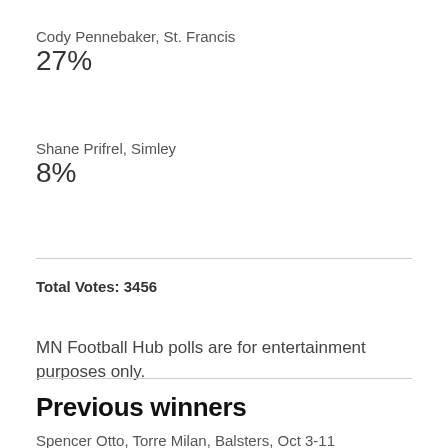Cody Pennebaker, St. Francis
27%
Shane Prifrel, Simley
8%
Total Votes: 3456
MN Football Hub polls are for entertainment purposes only.
Previous winners
Spencer Otto, Torre Milan, Balsters, Oct 3-11